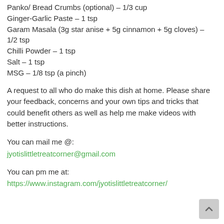Panko/ Bread Crumbs (optional) – 1/3 cup
Ginger-Garlic Paste – 1 tsp
Garam Masala (3g star anise + 5g cinnamon + 5g cloves) – 1/2 tsp
Chilli Powder – 1 tsp
Salt – 1 tsp
MSG – 1/8 tsp (a pinch)
A request to all who do make this dish at home. Please share your feedback, concerns and your own tips and tricks that could benefit others as well as help me make videos with better instructions.
You can mail me @:
jyotislittletreatcorner@gmail.com
You can pm me at:
https://www.instagram.com/jyotislittletreatcorner/